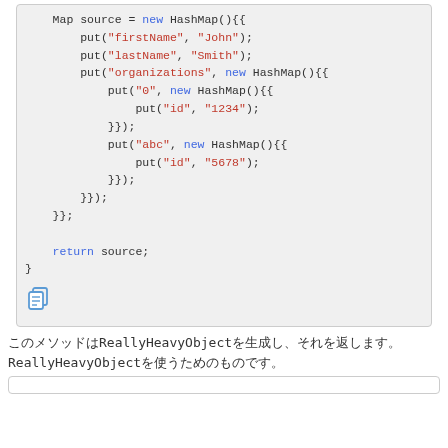[Figure (screenshot): Code block showing Java Map initialization with nested HashMaps containing firstName, lastName, organizations fields with keys 0 and abc having id values 1234 and 5678. Followed by return source statement and closing brace. Copy icon at bottom.]
このメソッドはReallyHeavyObjectを生成し、それを返します。ReallyHeavyObjectを使うためのものです。
[Figure (screenshot): Bottom empty bordered box]